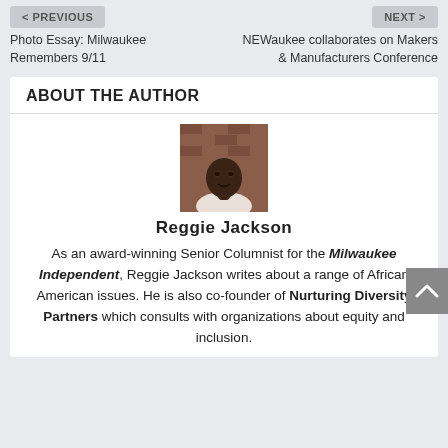< PREVIOUS
Photo Essay: Milwaukee Remembers 9/11
NEXT >
NEWaukee collaborates on Makers & Manufacturers Conference
ABOUT THE AUTHOR
[Figure (photo): Portrait photo of Reggie Jackson against a brick wall background]
Reggie Jackson
As an award-winning Senior Columnist for the Milwaukee Independent, Reggie Jackson writes about a range of African American issues. He is also co-founder of Nurturing Diversity Partners which consults with organizations about equity and inclusion.